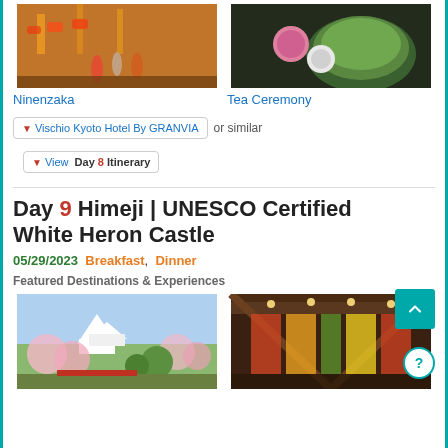[Figure (photo): Ninenzaka street scene with people walking, warm evening lights]
Ninenzaka
[Figure (photo): Tea ceremony with matcha green tea and wagashi sweets on dark background]
Tea Ceremony
Vischio Kyoto Hotel By GRANVIA or similar
View Day 8 Itinerary
Day 9 Himeji | UNESCO Certified White Heron Castle
05/29/2023 Breakfast, Dinner
Featured Destinations & Experiences
[Figure (photo): Himeji Castle with cherry blossoms in the foreground]
[Figure (photo): Interior corridor with colorful autumn leaf display illuminated lights]